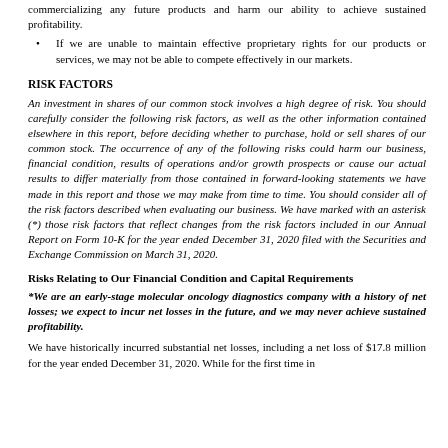commercializing any future products and harm our ability to achieve sustained profitability.
If we are unable to maintain effective proprietary rights for our products or services, we may not be able to compete effectively in our markets.
RISK FACTORS
An investment in shares of our common stock involves a high degree of risk. You should carefully consider the following risk factors, as well as the other information contained elsewhere in this report, before deciding whether to purchase, hold or sell shares of our common stock. The occurrence of any of the following risks could harm our business, financial condition, results of operations and/or growth prospects or cause our actual results to differ materially from those contained in forward-looking statements we have made in this report and those we may make from time to time. You should consider all of the risk factors described when evaluating our business. We have marked with an asterisk (*) those risk factors that reflect changes from the risk factors included in our Annual Report on Form 10-K for the year ended December 31, 2020 filed with the Securities and Exchange Commission on March 31, 2020.
Risks Relating to Our Financial Condition and Capital Requirements
*We are an early-stage molecular oncology diagnostics company with a history of net losses; we expect to incur net losses in the future, and we may never achieve sustained profitability.
We have historically incurred substantial net losses, including a net loss of $17.8 million for the year ended December 31, 2020. While for the first time in